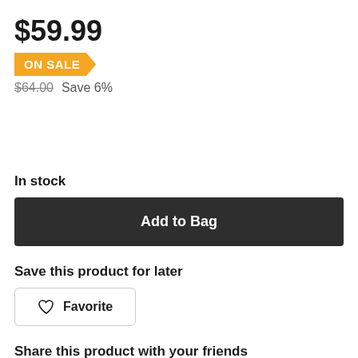$59.99
ON SALE
$64.00  Save 6%
In stock
Add to Bag
Save this product for later
Favorite
Share this product with your friends